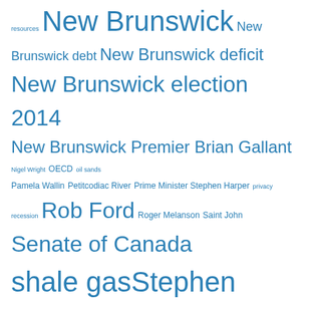resources New Brunswick New Brunswick debt New Brunswick deficit New Brunswick election 2014 New Brunswick Premier Brian Gallant Nigel Wright OECD oil sands Pamela Wallin Petitcodiac River Prime Minister Stephen Harper privacy recession Rob Ford Roger Melanson Saint John Senate of Canada shale gas Stephen Harper Supreme Court of Canada Technology The Atlantic Thomas Mulcair unemployment
Blogroll
Discuss
Get Inspired